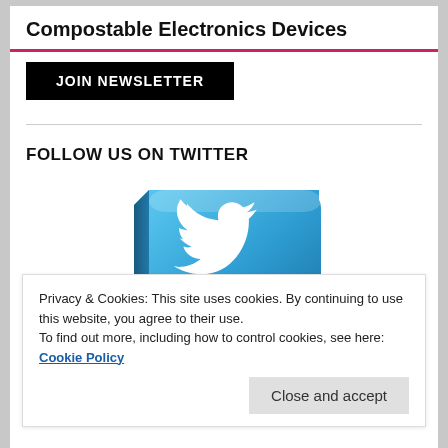Compostable Electronics Devices
JOIN NEWSLETTER
FOLLOW US ON TWITTER
[Figure (illustration): 3D blue Twitter bird logo icon with a speech bubble pointer at the bottom, partially visible behind a cookie consent banner]
Privacy & Cookies: This site uses cookies. By continuing to use this website, you agree to their use.
To find out more, including how to control cookies, see here: Cookie Policy
Close and accept